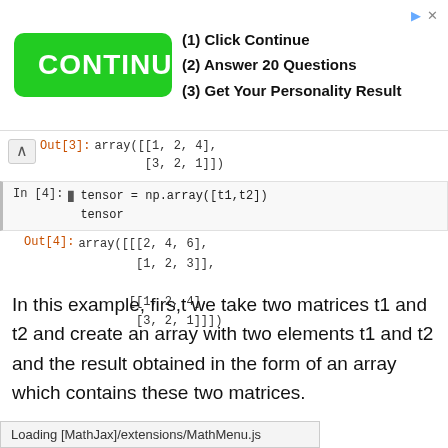[Figure (screenshot): Advertisement banner with green CONTINUE > button and text: (1) Click Continue, (2) Answer 20 Questions, (3) Get Your Personality Result]
Out[3]: array([[1, 2, 4],
       [3, 2, 1]])
In [4]: tensor = np.array([t1,t2])
tensor
Out[4]: array([[[2, 4, 6],
        [1, 2, 3]],

       [[1, 2, 4],
        [3, 2, 1]]])
In this example, firs,t we take two matrices t1 and t2 and create an array with two elements t1 and t2 and the result obtained in the form of an array which contains these two matrices.
Now we check this shape like this,
Loading [MathJax]/extensions/MathMenu.js